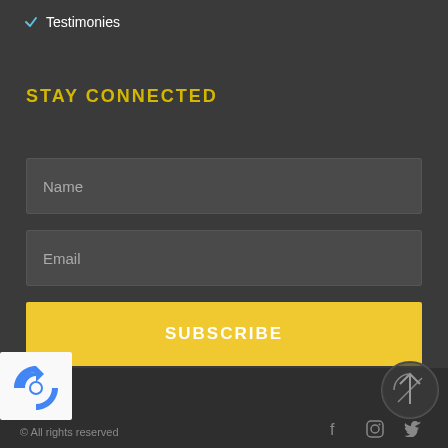✓ Testimonies
STAY CONNECTED
[Figure (screenshot): Web form with Name and Email input fields, a yellow SUBSCRIBE button, a reCAPTCHA widget, social media icons (Facebook, Instagram, Twitter), a logo icon, and copyright text at the bottom.]
© All rights reserved